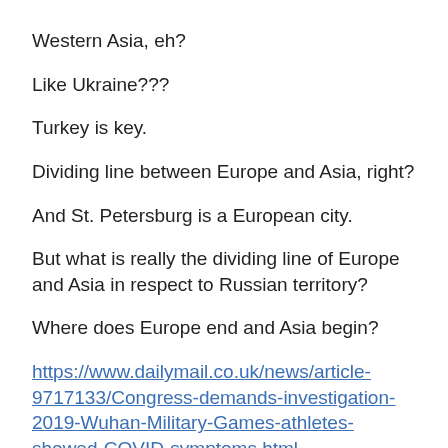Western Asia, eh?
Like Ukraine???
Turkey is key.
Dividing line between Europe and Asia, right?
And St. Petersburg is a European city.
But what is really the dividing line of Europe and Asia in respect to Russian territory?
Where does Europe end and Asia begin?
https://www.dailymail.co.uk/news/article-9717133/Congress-demands-investigation-2019-Wuhan-Military-Games-athletes-showed-COVID-symptoms.html